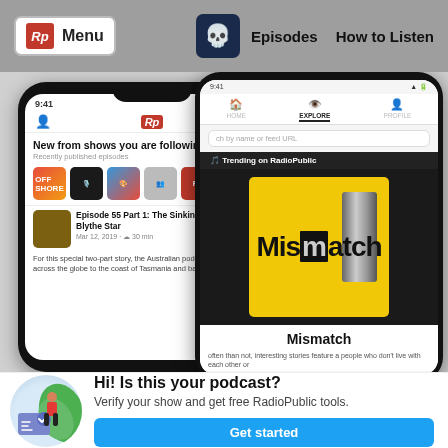Rp Menu | Episodes | How to Listen
[Figure (screenshot): Two smartphone screenshots showing the RadioPublic podcast app. Left phone shows 'New from shows you are following' feed with podcast icons and episode 'Episode 55 Part 1: The Sinking of the Blythe Star'. Right phone shows the Explore tab with 'Trending on RadioPublic' featuring the Mismatch podcast.]
[Figure (illustration): Illustration of a woman in red top and black pants standing next to a large check-marked document, with green leaves in background, on a light blue circular background.]
Hi! Is this your podcast?
Verify your show and get free RadioPublic tools.
Get started